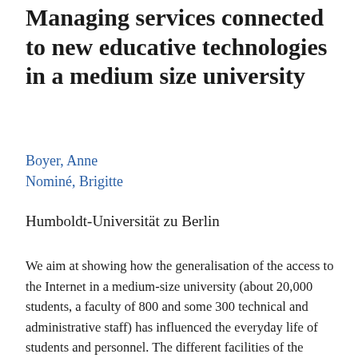Managing services connected to new educative technologies in a medium size university
Boyer, Anne
Nominé, Brigitte
Humboldt-Universität zu Berlin
We aim at showing how the generalisation of the access to the Internet in a medium-size university (about 20,000 students, a faculty of 800 and some 300 technical and administrative staff) has influenced the everyday life of students and personnel. The different facilities of the University are spread out in several different sites in Nancy and its suburbs with some offshoots in other towns of the Lorraine region. The user base varies in its academic levels and computer literacy, as one may expect with computer specialists on the one hand, and common end users in the Humanities or Law on the other. The main goal of the so-